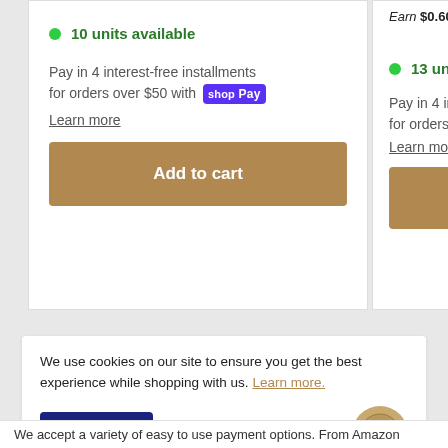10 units available
Pay in 4 interest-free installments for orders over $50 with Shop Pay
Learn more
Add to cart
Earn $0.60 store credit
13 units available
Pay in 4 interest-free for orders over $50
Learn more
Add to
We use cookies on our site to ensure you get the best experience while shopping with us. Learn more.
Accept
We accept a variety of easy to use payment options. From Amazon